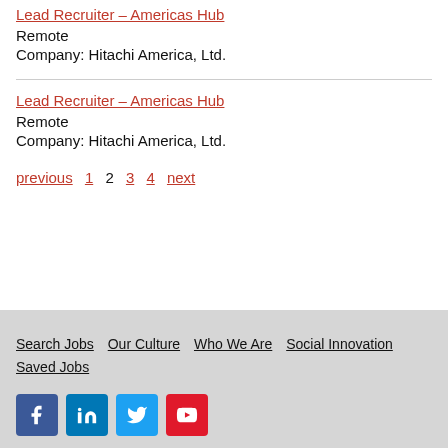Lead Recruiter – Americas Hub
Remote
Company: Hitachi America, Ltd.
Lead Recruiter – Americas Hub
Remote
Company: Hitachi America, Ltd.
previous  1  2  3  4  next
Search Jobs  Our Culture  Who We Are  Social Innovation  Saved Jobs